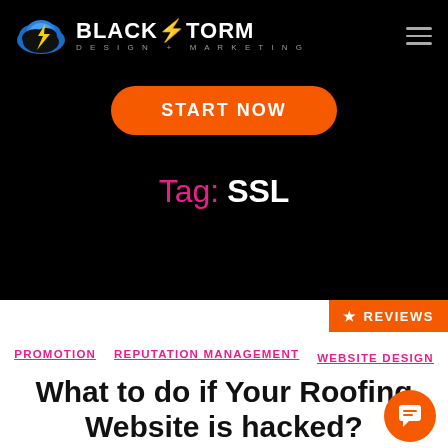[Figure (logo): BlackStorm Design + Marketing logo with lightning bolt cloud icon on black background]
[Figure (other): Orange rounded button with bold white uppercase text: START NOW]
Tag: SSL
[Figure (other): Orange tab in top right corner with star icon and REVIEWS text]
PROMOTION   REPUTATION MANAGEMENT   WEBSITE DESIGN
What to do if Your Roofing Website is hacked?